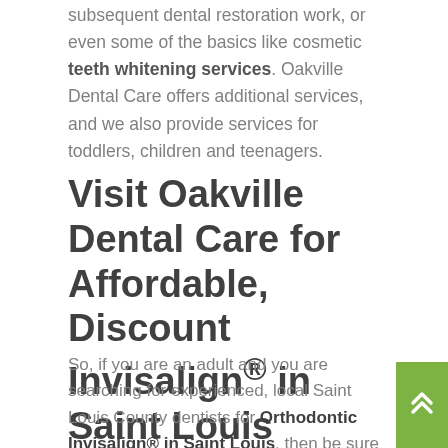subsequent dental restoration work, or even some of the basics like cosmetic teeth whitening services. Oakville Dental Care offers additional services, and we also provide services for toddlers, children and teenagers.
Visit Oakville Dental Care for Affordable, Discount Invisalign® in Saint Louis County
So, if you are an adult and you are searching for experienced, local Saint Louis County dentists for Orthodontic Invisalign® in Saint Louis, then be sure to review our company website about this and other services. You can find an affordable cosmetic dentist Oakville, MO, who will work with you during your ent